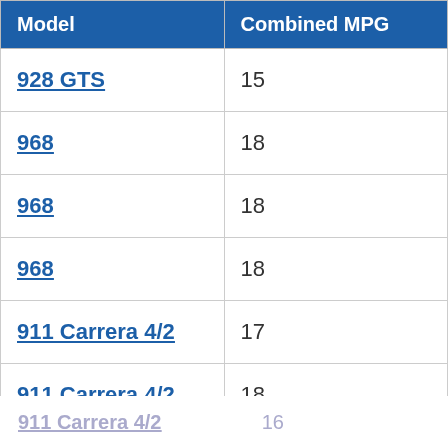| Model | Combined MPG |
| --- | --- |
| 928 GTS | 15 |
| 968 | 18 |
| 968 | 18 |
| 968 | 18 |
| 911 Carrera 4/2 | 17 |
| 911 Carrera 4/2 | 18 |
| 968 | 18 |
| 911 Carrera 4/2 | 16 |